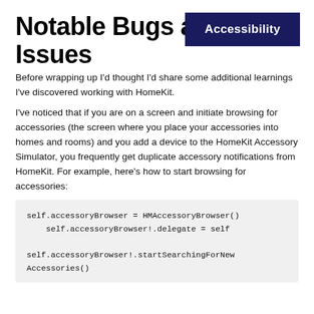Notable Bugs and Issues
Before wrapping up I'd thought I'd share some additional learnings I've discovered working with HomeKit.
I've noticed that if you are on a screen and initiate browsing for accessories (the screen where you place your accessories into homes and rooms) and you add a device to the HomeKit Accessory Simulator, you frequently get duplicate accessory notifications from HomeKit. For example, here's how to start browsing for accessories:
self.accessoryBrowser = HMAccessoryBrowser()
    self.accessoryBrowser!.delegate = self

self.accessoryBrowser!.startSearchingForNew
Accessories()